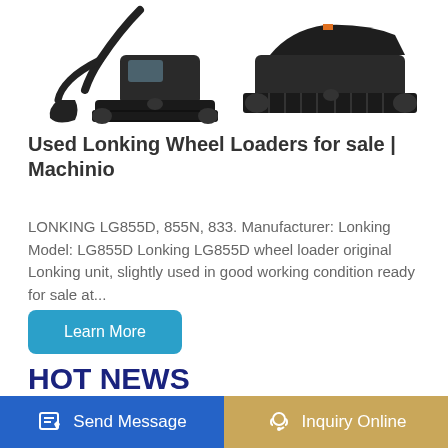[Figure (photo): Two pieces of construction equipment: an excavator on the left and a tracked undercarriage/carrier on the right, shown against white background.]
Used Lonking Wheel Loaders for sale | Machinio
LONKING LG855D, 855N, 833. Manufacturer: Lonking Model: LG855D Lonking LG855D wheel loader original Lonking unit, slightly used in good working condition ready for sale at...
Learn More
HOT NEWS
Wigona Excavating Construction Equipment
Chenggong wheel loader 3 ads of second hand
Send Message
Inquiry Online